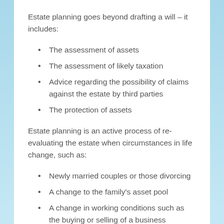Estate planning goes beyond drafting a will – it includes:
The assessment of assets
The assessment of likely taxation
Advice regarding the possibility of claims against the estate by third parties
The protection of assets
Estate planning is an active process of re-evaluating the estate when circumstances in life change, such as:
Newly married couples or those divorcing
A change to the family's asset pool
A change in working conditions such as the buying or selling of a business